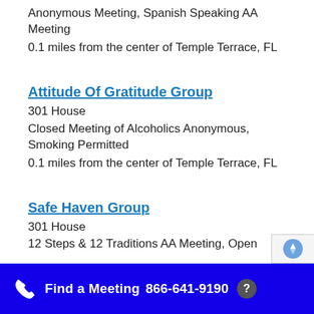Anonymous Meeting, Spanish Speaking AA Meeting
0.1 miles from the center of Temple Terrace, FL
Attitude Of Gratitude Group
301 House
Closed Meeting of Alcoholics Anonymous, Smoking Permitted
0.1 miles from the center of Temple Terrace, FL
Safe Haven Group
301 House
12 Steps & 12 Traditions AA Meeting, Open Alcoholics
Find a Meeting  866-641-9190